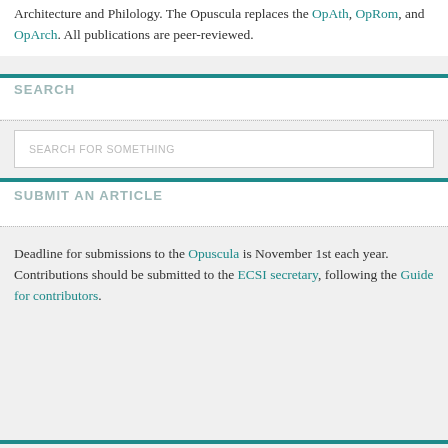Architecture and Philology. The Opuscula replaces the OpAth, OpRom, and OpArch. All publications are peer-reviewed.
SEARCH
[Figure (other): Search input box with placeholder text 'SEARCH FOR SOMETHING']
SUBMIT AN ARTICLE
Deadline for submissions to the Opuscula is November 1st each year. Contributions should be submitted to the ECSI secretary, following the Guide for contributors.